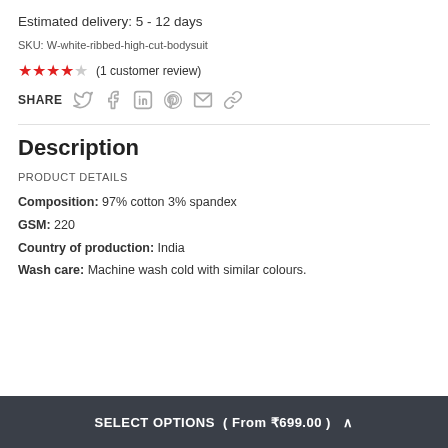Estimated delivery: 5 - 12 days
SKU: W-white-ribbed-high-cut-bodysuit
★★★★☆ (1 customer review)
SHARE [Twitter] [Facebook] [LinkedIn] [Pinterest] [Email] [Link]
Description
PRODUCT DETAILS
Composition: 97% cotton 3% spandex
GSM: 220
Country of production: India
Wash care: Machine wash cold with similar colours.
SELECT OPTIONS ( From ₹699.00 ) ∧